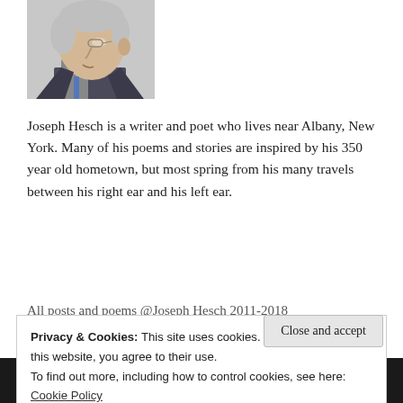[Figure (photo): Black and white/color photo of a middle-aged man with glasses, gray hair, wearing a dark jacket, shown in profile/three-quarter view, cropped at top.]
Joseph Hesch is a writer and poet who lives near Albany, New York. Many of his poems and stories are inspired by his 350 year old hometown, but most spring from his many travels between his right ear and his left ear.
All posts and poems @Joseph Hesch 2011-2018
Privacy & Cookies: This site uses cookies. By continuing to use this website, you agree to their use.
To find out more, including how to control cookies, see here: Cookie Policy
Close and accept